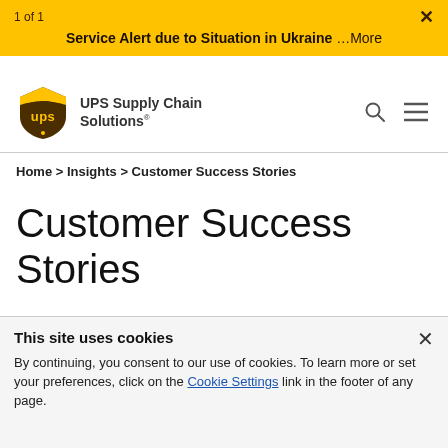1 of 1
Service Alert due to Situation in Ukraine …More
[Figure (logo): UPS shield logo in brown and yellow with 'ups' text]
UPS Supply Chain Solutions®
Home > Insights > Customer Success Stories
Customer Success Stories
We love problem solving, and we love success stories.
This site uses cookies
By continuing, you consent to our use of cookies. To learn more or set your preferences, click on the Cookie Settings link in the footer of any page.